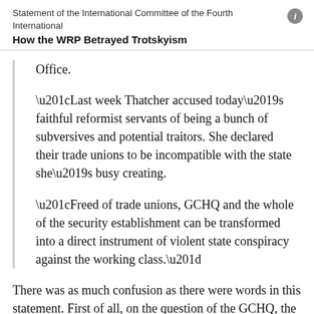Statement of the International Committee of the Fourth International
How the WRP Betrayed Trotskyism
Office.
“Last week Thatcher accused today’s faithful reformist servants of being a bunch of subversives and potential traitors. She declared their trade unions to be incompatible with the state she’s busy creating.
“Freed of trade unions, GCHQ and the whole of the security establishment can be transformed into a direct instrument of violent state conspiracy against the working class.”
There was as much confusion as there were words in this statement. First of all, on the question of the GCHQ, the abolition of this small union in the heart of the state